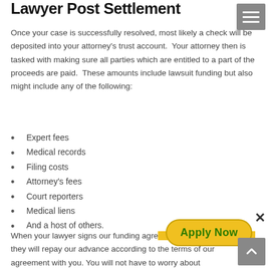Lawyer Post Settlement
Once your case is successfully resolved, most likely a check will be deposited into your attorney's trust account.  Your attorney then is tasked with making sure all parties which are entitled to a part of the proceeds are paid.  These amounts include lawsuit funding but also might include any of the following:
Expert fees
Medical records
Filing costs
Attorney's fees
Court reporters
Medical liens
And a host of others.
When your lawyer signs our funding agre... they will repay our advance according to the terms of our agreement with you. You will not have to worry about